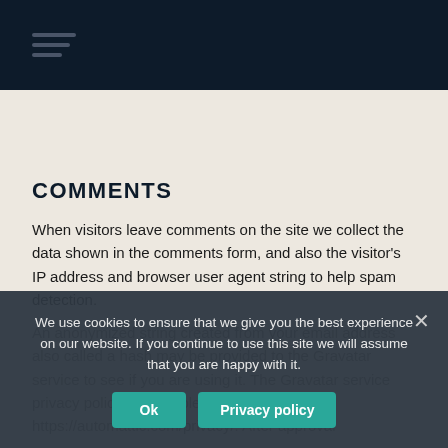Navigation menu bar with hamburger icon
COMMENTS
When visitors leave comments on the site we collect the data shown in the comments form, and also the visitor's IP address and browser user agent string to help spam detection.
An anonymized string created from your email address also called a hash may be provided to the Gravatar service to see if you are using it. The Gravatar service privacy policy is available here: https://automattic.com/privacy/. After approval
We use cookies to ensure that we give you the best experience on our website. If you continue to use this site we will assume that you are happy with it.